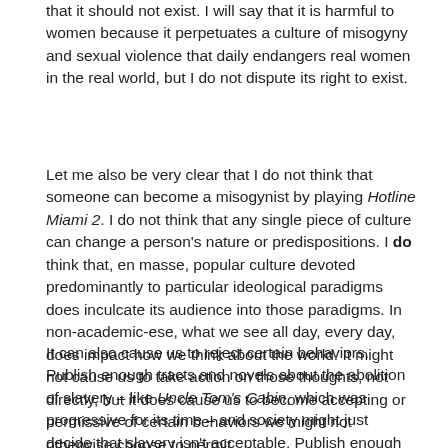that it should not exist. I will say that it is harmful to women because it perpetuates a culture of misogyny and sexual violence that daily endangers real women in the real world, but I do not dispute its right to exist.
Let me also be very clear that I do not think that someone can become a misogynist by playing Hotline Miami 2. I do not think that any single piece of culture can change a person's nature or predispositions. I do think that, en masse, popular culture devoted predominantly to particular ideological paradigms does inculcate its audience into those paradigms. In non-academic-ese, what we see all day, every day, does impact how we think about the world. It might not cause us to take action on those thoughts, not directly, but it does cause us to become accepting or permissive of certain behaviors we might not otherwise choose to permit.
It can also cause us to reject certain behaviors. Publish enough tracts and novels about the abolition of slavery – like Uncle Tom's Cabin, which was progressive for its time – and society might just decide that slavery isn't acceptable. Publish enough tracts and hold enough speeches on how women should vote, and you get women's suffrage. Make enough television, movies, and videogames about how African Americans are all violent gangsters, and you get unarmed black teenagers being shot because white people feel genuine (albeit